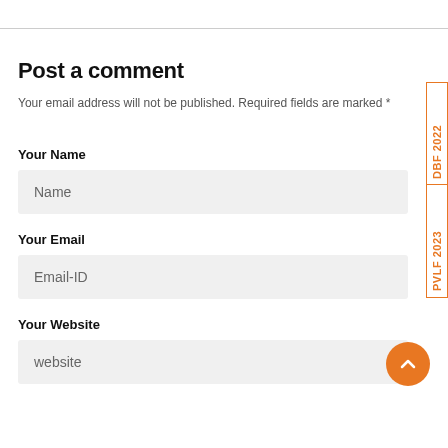Post a comment
Your email address will not be published. Required fields are marked *
Your Name
Name
Your Email
Email-ID
Your Website
website